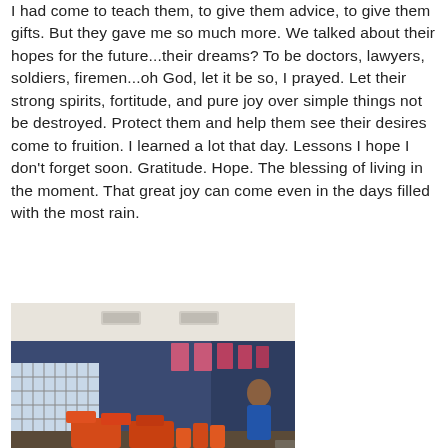I had come to teach them, to give them advice, to give them gifts. But they gave me so much more. We talked about their hopes for the future...their dreams? To be doctors, lawyers, soldiers, firemen...oh God, let it be so, I prayed. Let their strong spirits, fortitude, and pure joy over simple things not be destroyed. Protect them and help them see their desires come to fruition. I learned a lot that day. Lessons I hope I don't forget soon. Gratitude. Hope. The blessing of living in the moment. That great joy can come even in the days filled with the most rain.
[Figure (photo): Interior photo of a room with dark blue walls, ceiling vents, pink/red rectangular windows near the top, a large window with grid panes on the left side, orange chairs or furniture, and a person visible on the right side. The room appears to be a classroom or community space.]